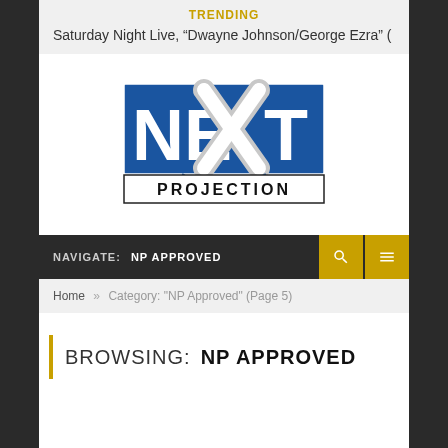TRENDING
Saturday Night Live, “Dwayne Johnson/George Ezra” (
[Figure (logo): Next Projection logo — blue rectangle with large white NE and T letters, a stylized X in the center, and 'PROJECTION' in a bordered text band below]
NAVIGATE:   NP APPROVED
Home » Category: "NP Approved" (Page 5)
BROWSING:   NP APPROVED